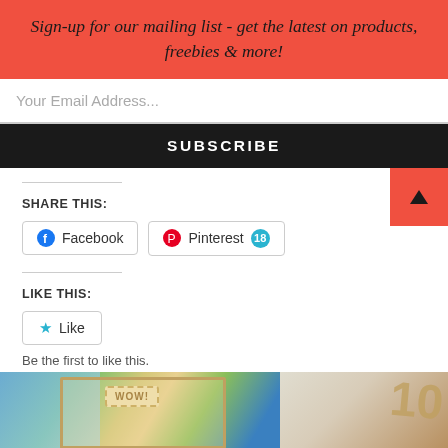Sign-up for our mailing list - get the latest on products, freebies & more!
Your Email Address...
SUBSCRIBE
SHARE THIS:
Facebook
Pinterest 18
LIKE THIS:
Like
Be the first to like this.
[Figure (photo): Bottom images showing scrapbook/craft products including a WOW tag wooden frame and decorative items]